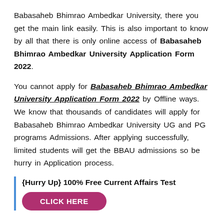Babasaheb Bhimrao Ambedkar University, there you get the main link easily. This is also important to know by all that there is only online access of Babasaheb Bhimrao Ambedkar University Application Form 2022.
You cannot apply for Babasaheb Bhimrao Ambedkar University Application Form 2022 by Offline ways. We know that thousands of candidates will apply for Babasaheb Bhimrao Ambedkar University UG and PG programs Admissions. After applying successfully, limited students will get the BBAU admissions so be hurry in Application process.
{Hurry Up} 100% Free Current Affairs Test
CLICK HERE